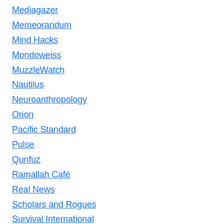Mediagazer
Memeorandum
Mind Hacks
Mondoweiss
MuzzleWatch
Nautilus
Neuroanthropology
Orion
Pacific Standard
Pulse
Qunfuz
Ramallah Café
Real News
Scholars and Rogues
Survival International
Syria Comment
The Agonist
The Arabist
The Magnes Zionist